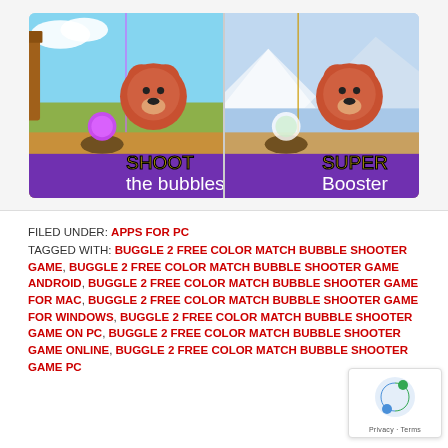[Figure (screenshot): Two side-by-side screenshots of Buggle 2 bubble shooter game. Left panel shows 'SHOOT the bubbles!' text over a forest scene with a bear character. Right panel shows 'SUPER Booster' text over an icy scene with a bear character.]
FILED UNDER: APPS FOR PC
TAGGED WITH: BUGGLE 2 FREE COLOR MATCH BUBBLE SHOOTER GAME, BUGGLE 2 FREE COLOR MATCH BUBBLE SHOOTER GAME ANDROID, BUGGLE 2 FREE COLOR MATCH BUBBLE SHOOTER GAME FOR MAC, BUGGLE 2 FREE COLOR MATCH BUBBLE SHOOTER GAME FOR WINDOWS, BUGGLE 2 FREE COLOR MATCH BUBBLE SHOOTER GAME ON PC, BUGGLE 2 FREE COLOR MATCH BUBBLE SHOOTER GAME ONLINE, BUGGLE 2 FREE COLOR MATCH BUBBLE SHOOTER GAME PC